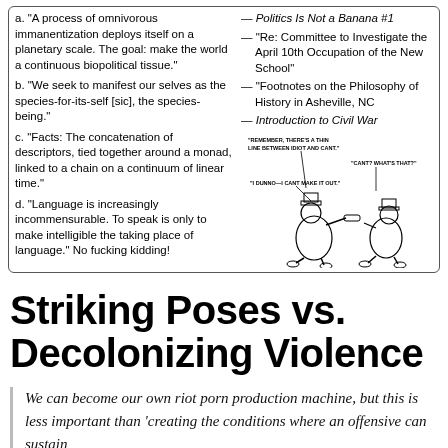a. "A process of omnivorous immanentization deploys itself on a planetary scale. The goal: make the world a continuous biopolitical tissue."
b. "We seek to manifest our selves as the species-for-its-self [sic], the species-being."
c. "Facts: The concatenation of descriptors, tied together around a monad, linked to a chain on a continuum of linear time."
d. "Language is increasingly incommensurable. To speak is only to make intelligible the taking place of language." No fucking kidding!
— Politics Is Not a Banana #1
— "Re: Committee to Investigate the April 10th Occupation of the New School"
— "Footnotes on the Philosophy of History in Asheville, NC
— Introduction to Civil War
[Figure (illustration): Cartoon of two figures crouching with speech bubbles: 'REMEMBER, THERE'S A THIN LINE BETWEEN IDIOT AND CANT.' 'CANT? WHAT'S THAT?' 'I DUNNO—I CANT MAKE IT OUT.']
Striking Poses vs. Decolonizing Violence
We can become our own riot porn production machine, but this is less important than 'creating the conditions where an offensive can sustain